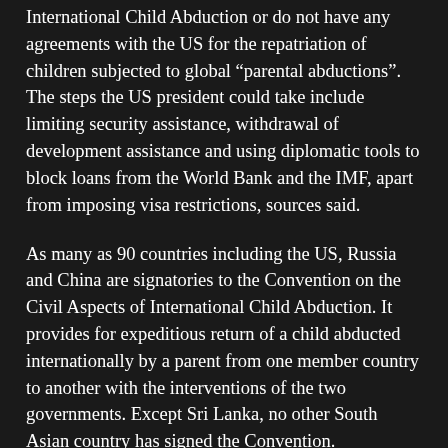International Child Abduction or do not have any agreements with the US for the repatriation of children subjected to global “parental abductions”. The steps the US president could take include limiting security assistance, withdrawal of development assistance and using diplomatic tools to block loans from the World Bank and the IMF, apart from imposing visa restrictions, sources said.
As many as 90 countries including the US, Russia and China are signatories to the Convention on the Civil Aspects of International Child Abduction. It provides for expeditious return of a child abducted internationally by a parent from one member country to another with the interventions of the two governments. Except Sri Lanka, no other South Asian country has signed the Convention.
India’s Ministry of Law and Justice is of the view that if India signs the pact, it would put Indian women married to non-resident Indians or foreign nationals to disadvantage in cases of divorces and legal battles over the custody of children, Indian government sources said. This is also one of the